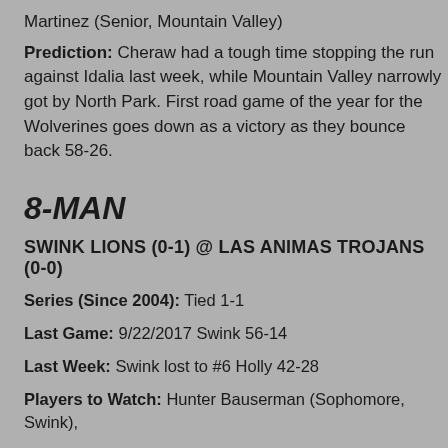Martinez (Senior, Mountain Valley)
Prediction: Cheraw had a tough time stopping the run against Idalia last week, while Mountain Valley narrowly got by North Park. First road game of the year for the Wolverines goes down as a victory as they bounce back 58-26.
8-MAN
SWINK LIONS (0-1) @ LAS ANIMAS TROJANS (0-0)
Series (Since 2004): Tied 1-1
Last Game: 9/22/2017 Swink 56-14
Last Week: Swink lost to #6 Holly 42-28
Players to Watch: Hunter Bauserman (Sophomore, Swink),